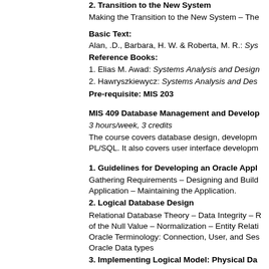2. Transition to the New System
Making the Transition to the New System – The...
Basic Text:
Alan, .D., Barbara, H. W. & Roberta, M. R.: Sys...
Reference Books:
1. Elias M. Awad: Systems Analysis and Design...
2. Hawryszkiewycz: Systems Analysis and Des...
Pre-requisite: MIS 203
MIS 409 Database Management and Develop...
3 hours/week, 3 credits
The course covers database design, developm... PL/SQL. It also covers user interface developm...
1. Guidelines for Developing an Oracle Appl...
Gathering Requirements – Designing and Build... Application – Maintaining the Application.
2. Logical Database Design
Relational Database Theory – Data Integrity – R... of the Null Value – Normalization – Entity Relati... Oracle Terminology: Connection, User, and Ses... Oracle Data types
3. Implementing Logical Model: Physical Da...
Basics of the CREATE TABLE Statement – Usin... Primary Key – The Foreign Key and Referentia... Viewing Constraints – Restricting Values with a... Modifying a Table – Script for Creating the Sam...
4. Introduction to Structured Query Langua...